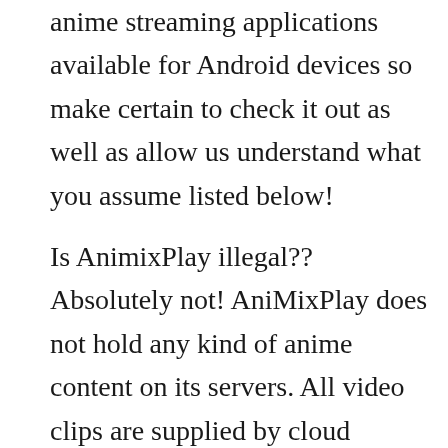anime streaming applications available for Android devices so make certain to check it out as well as allow us understand what you assume listed below!
Is AnimixPlay illegal??
Absolutely not! AniMixPlay does not hold any kind of anime content on its servers. All video clips are supplied by cloud solutions like YouTube and Openload. This implies the application is lawful to make use of (no download called for).